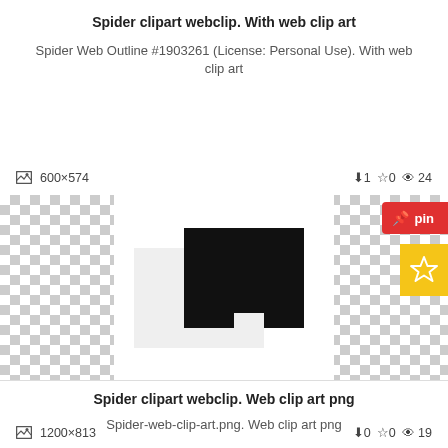Spider clipart webclip. With web clip art
Spider Web Outline #1903261 (License: Personal Use). With web clip art
600×574   ⬇1  ☆0  👁24
[Figure (illustration): Checkerboard transparent background with a black and grayscale spider web clipart image centered]
Spider clipart webclip. Web clip art png
Spider-web-clip-art.png. Web clip art png
1200×813   ⬇0  ☆0  👁19